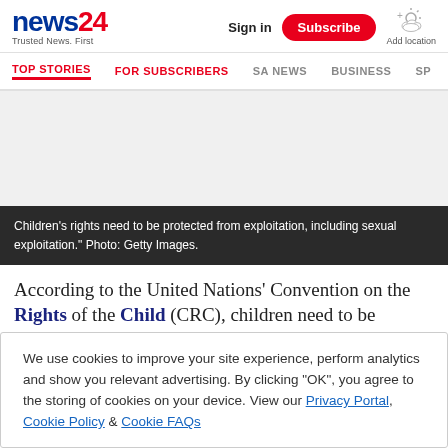news24 Trusted News. First | Sign in | Subscribe | Add location
TOP STORIES | FOR SUBSCRIBERS | SA NEWS | BUSINESS | SP
[Figure (photo): Advertisement/blank area placeholder]
Children's rights need to be protected from exploitation, including sexual exploitation." Photo: Getty Images.
According to the United Nations' Convention on the Rights of the Child (CRC), children need to be protected from
We use cookies to improve your site experience, perform analytics and show you relevant advertising. By clicking "OK", you agree to the storing of cookies on your device. View our Privacy Portal, Cookie Policy & Cookie FAQs